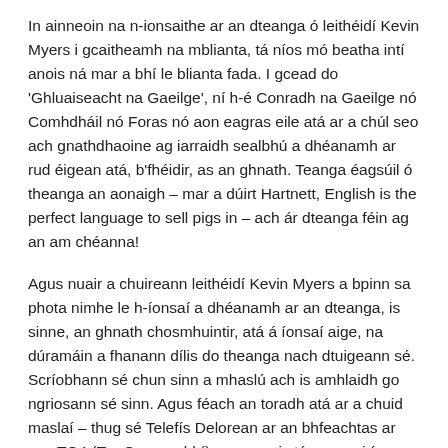In ainneoin na n-ionsaithe ar an dteanga ó leithéidí Kevin Myers i gcaitheamh na mblianta, tá níos mó beatha intí anois ná mar a bhí le blianta fada. I gcead do 'Ghluaiseacht na Gaeilge', ní h-é Conradh na Gaeilge nó Comhdháil nó Foras nó aon eagras eile atá ar a chúl seo ach gnathdhaoine ag iarraidh sealbhú a dhéanamh ar rud éigean atá, b'fhéidir, as an ghnath. Teanga éagsúil ó theanga an aonaigh – mar a dúirt Hartnett, English is the perfect language to sell pigs in – ach ár dteanga féin ag an am chéanna!
Agus nuair a chuireann leithéidí Kevin Myers a bpinn sa phota nimhe le h-íonsaí a dhéanamh ar an dteanga, is sinne, an ghnath chosmhuintir, atá á íonsaí aige, na dúramáin a fhanann dílis do theanga nach dtuigeann sé. Scríobhann sé chun sinn a mhaslú ach is amhlaidh go ngriosann sé sinn. Agus féach an toradh atá ar a chuid maslaí – thug sé Telefís Delorean ar an bhfeachtas ar son TG4 (TnaG mar a bhí) agus anois tá ceannairí na tíre ag diospóireacht as Gaeilge ar an staisiún sin agus lucht féachana san iomlán de 500,000 aige.